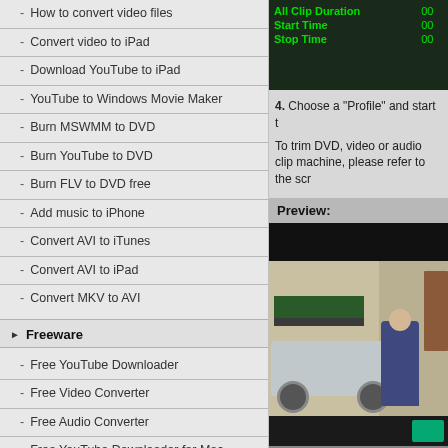- How to convert video files
- Convert video to iPad
- Download YouTube to iPad
- YouTube to Windows Movie Maker
- Burn MSWMM to DVD
- Burn YouTube to DVD
- Burn FLV to DVD free
- Add music to iPhone
- Convert AVI to iTunes
- Convert AVI to iPad
- Convert MKV to AVI
Freeware
- Free YouTube Downloader
- Free Video Converter
- Free Audio Converter
- Free YouTube Downloader for Mac
Social Connection
[Figure (screenshot): Software interface showing Clip Duration, Start Time, Stop Time fields with green text on dark background]
4. Choose a "Profile" and start t
To trim DVD, video or audio clip machine, please refer to the scr
[Figure (screenshot): Preview panel showing a street scene with a person in blue hoodie near a car, with black bars at top and bottom]